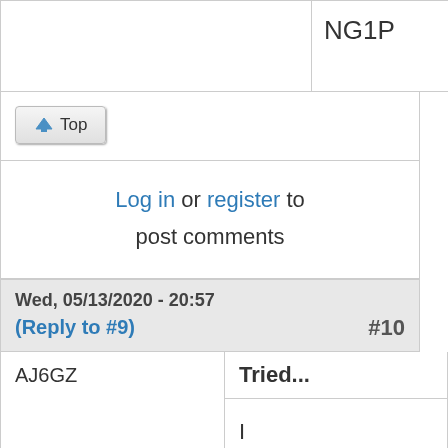|  | NG1P |
↑ Top
Log in or register to post comments
Wed, 05/13/2020 - 20:57
(Reply to #9)  #10
| AJ6GZ | Tried...
I believe there was |